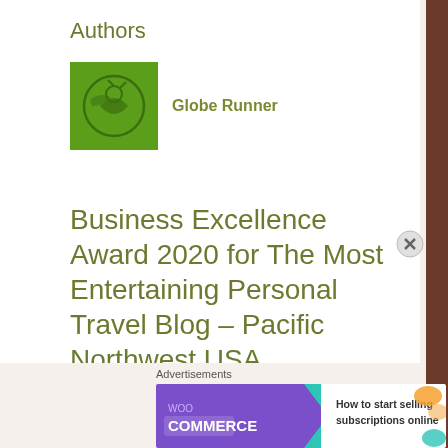Authors
Globe Runner
Business Excellence Award 2020 for The Most Entertaining Personal Travel Blog – Pacific Northwest USA
[Figure (photo): Dark/black background image with AI acquisition international logo and dotted arc design, partial large letter visible]
Advertisements
[Figure (infographic): WooCommerce advertisement banner: purple left side with WooCommerce logo and teal arrow, white right side with text 'How to start selling subscriptions online' and orange/teal decorative shapes]